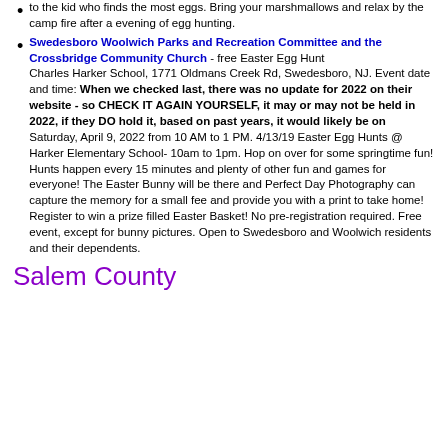to the kid who finds the most eggs. Bring your marshmallows and relax by the camp fire after a evening of egg hunting.
Swedesboro Woolwich Parks and Recreation Committee and the Crossbridge Community Church - free Easter Egg Hunt
Charles Harker School, 1771 Oldmans Creek Rd, Swedesboro, NJ. Event date and time: When we checked last, there was no update for 2022 on their website - so CHECK IT AGAIN YOURSELF, it may or may not be held in 2022, if they DO hold it, based on past years, it would likely be on Saturday, April 9, 2022 from 10 AM to 1 PM. 4/13/19 Easter Egg Hunts @ Harker Elementary School- 10am to 1pm. Hop on over for some springtime fun! Hunts happen every 15 minutes and plenty of other fun and games for everyone! The Easter Bunny will be there and Perfect Day Photography can capture the memory for a small fee and provide you with a print to take home! Register to win a prize filled Easter Basket! No pre-registration required. Free event, except for bunny pictures. Open to Swedesboro and Woolwich residents and their dependents.
Salem County